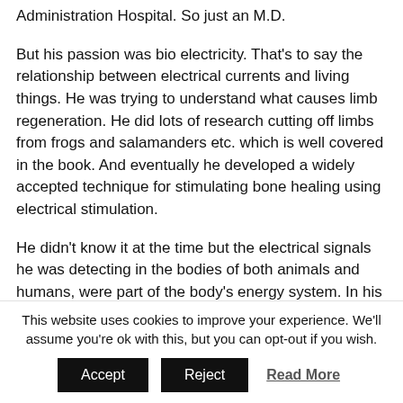Administration Hospital. So just an M.D.
But his passion was bio electricity. That’s to say the relationship between electrical currents and living things. He was trying to understand what causes limb regeneration. He did lots of research cutting off limbs from frogs and salamanders etc. which is well covered in the book. And eventually he developed a widely accepted technique for stimulating bone healing using electrical stimulation.
He didn’t know it at the time but the electrical signals he was detecting in the bodies of both animals and humans, were part of the body’s energy system. In his later book Cross Currents he spoke of a “data-
This website uses cookies to improve your experience. We’ll assume you’re ok with this, but you can opt-out if you wish.
Accept   Reject   Read More